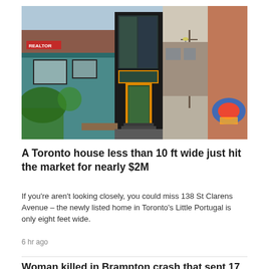[Figure (photo): Photo of a narrow Toronto house less than 10 ft wide with black cladding exterior, orange-framed door, adjacent to a colorful teal house on the left and an alleyway with graffiti on the right.]
A Toronto house less than 10 ft wide just hit the market for nearly $2M
If you're aren't looking closely, you could miss 138 St Clarens Avenue – the newly listed home in Toronto's Little Portugal is only eight feet wide.
6 hr ago
Woman killed in Brampton crash that sent 17